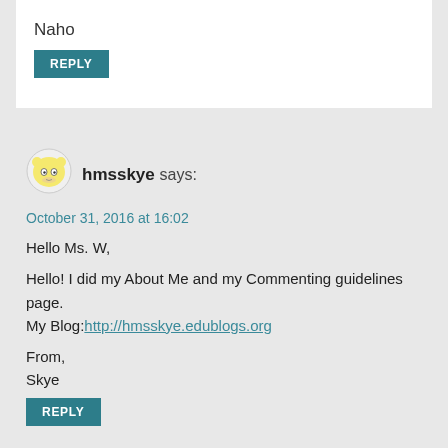Naho
REPLY
[Figure (illustration): Small cartoon avatar icon of hmsskye — a round yellow face character]
hmsskye says:
October 31, 2016 at 16:02
Hello Ms. W,

Hello! I did my About Me and my Commenting guidelines page.
My Blog:http://hmsskye.edublogs.org

From,
Skye
REPLY